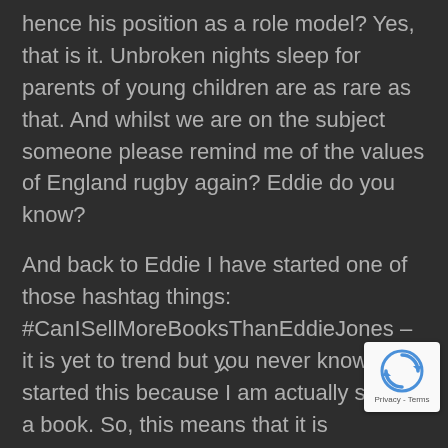hence his position as a role model? Yes, that is it. Unbroken nights sleep for parents of young children are as rare as that. And whilst we are on the subject someone please remind me of the values of England rugby again? Eddie do you know?
And back to Eddie I have started one of those hashtag things: #CanISellMoreBooksThanEddieJones – it is yet to trend but you never know. I started this because I am actually selling a book. So, this means that it is theoretically possible to sell more books than Eddie Jones who also has a book out. My book is called #MudMaulMascara ; Eddie might not know what his book is called because it is unlikely that he wrote any of it himself. Anyway, I think that is enough plugging for now. I will do some more next time and then probably the next